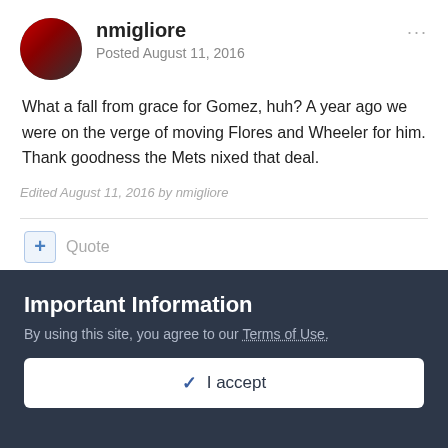nmigliore
Posted August 11, 2016
What a fall from grace for Gomez, huh? A year ago we were on the verge of moving Flores and Wheeler for him. Thank goodness the Mets nixed that deal.
Edited August 11, 2016 by nmigliore
+ Quote
Colorado Rockies 1976
Important Information
By using this site, you agree to our Terms of Use.
I accept